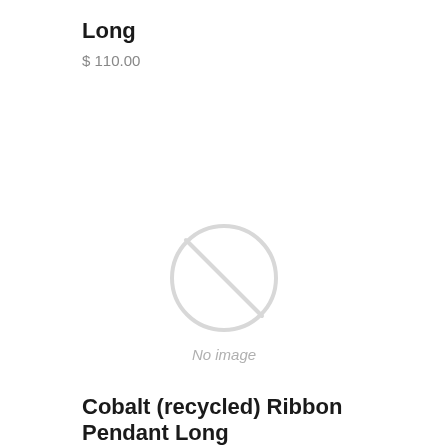Long
$ 110.00
[Figure (other): No image placeholder with a circle-slash icon and 'No image' label]
Cobalt (recycled) Ribbon Pendant Long